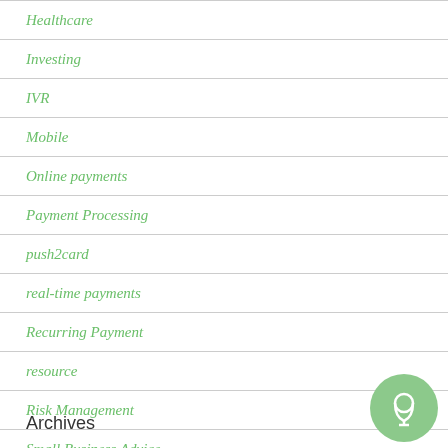Healthcare
Investing
IVR
Mobile
Online payments
Payment Processing
push2card
real-time payments
Recurring Payment
resource
Risk Management
Small Business Advice
Technology
Archives